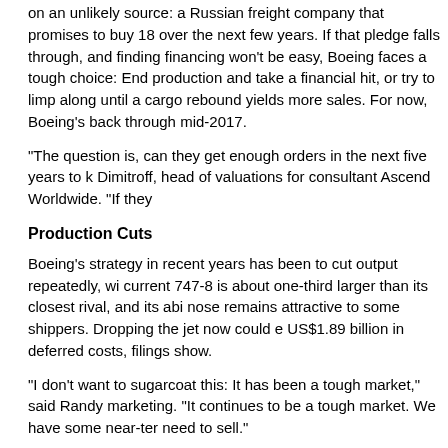on an unlikely source: a Russian freight company that promises to buy 18 over the next few years. If that pledge falls through, and finding financing won't be easy, Boeing faces a tough choice: End production and take a financial hit, or try to limp along until a cargo rebound yields more sales. For now, Boeing's back through mid-2017.
"The question is, can they get enough orders in the next five years to k Dimitroff, head of valuations for consultant Ascend Worldwide. "If they
Production Cuts
Boeing's strategy in recent years has been to cut output repeatedly, wi current 747-8 is about one-third larger than its closest rival, and its abi nose remains attractive to some shippers. Dropping the jet now could e US$1.89 billion in deferred costs, filings show.
"I don't want to sugarcoat this: It has been a tough market," said Randy marketing. "It continues to be a tough market. We have some near-ter need to sell."
Dubbed the "Queen of the Skies" for its piano bars and spiral staircase was introduced in 1970, ushering in an era of long-range travel and jet for more than 1,500 of its various models, making it one of the best-se claim much of that glory: It accounts for only 121 orders, and debuted i
Ruble Troubles
This year, Boeing has netted only two 747 sales, matching its 2014 tota